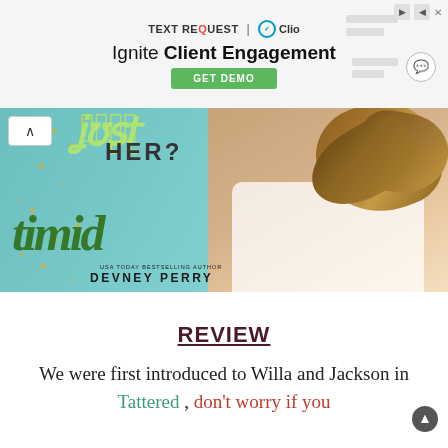[Figure (screenshot): Advertisement banner for TEXT REQUEST | Clio with headline 'Ignite Client Engagement' and a green 'GET DEMO' button]
[Figure (photo): Book cover for 'Timid' by Devney Perry (USA Today Bestselling Author). Teal/aqua background with gold sparkles, text 'HER?' in dark letters, cursive green script at top, large dark green script 'timid' title, and a woman with flowing blonde hair wearing white clothing seated on the right side.]
REVIEW
We were first introduced to Willa and Jackson in Tattered , don't worry if you